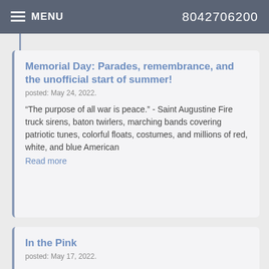MENU  8042706200
Memorial Day: Parades, remembrance, and the unofficial start of summer!
posted: May 24, 2022.
“The purpose of all war is peace.” - Saint Augustine Fire truck sirens, baton twirlers, marching bands covering patriotic tunes, colorful floats, costumes, and millions of red, white, and blue American
Read more
In the Pink
posted: May 17, 2022.
Our gums cover and protect the sensitive roots of our teeth and the bone around them. While we often think of gum tissue as a rosy shade of pink, that’s
Read more